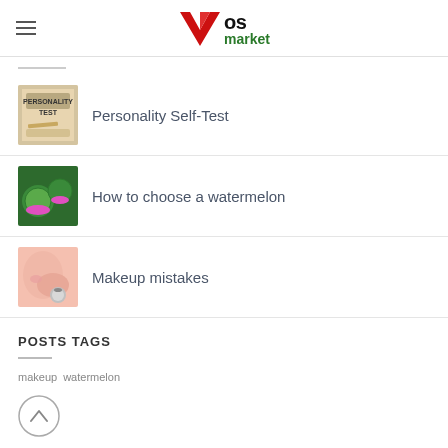Vos market
Personality Self-Test
How to choose a watermelon
Makeup mistakes
POSTS TAGS
makeup  watermelon